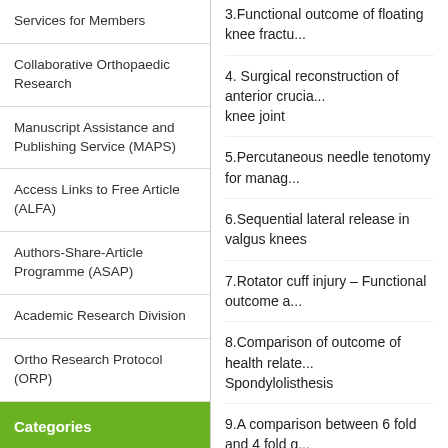Services for Members
Collaborative Orthopaedic Research
Manuscript Assistance and Publishing Service (MAPS)
Access Links to Free Article (ALFA)
Authors-Share-Article Programme (ASAP)
Academic Research Division
Ortho Research Protocol (ORP)
Categories
Access Links to Free Articles
ALFA (Access Links to Free
3.Functional outcome of floating knee fractu...
4. Surgical reconstruction of anterior crucia... knee joint
5.Percutaneous needle tenotomy for manag...
6.Sequential lateral release in valgus knees
7.Rotator cuff injury – Functional outcome a...
8.Comparison of outcome of health relate... Spondylolisthesis
9.A comparison between 6 fold and 4 fold g...
10.Follow up study of cosmetic scoliosis cu...
11.Ilizarov ring fixator for knee fusion post i...
12.Intrafocal pinning of radial neck fracture